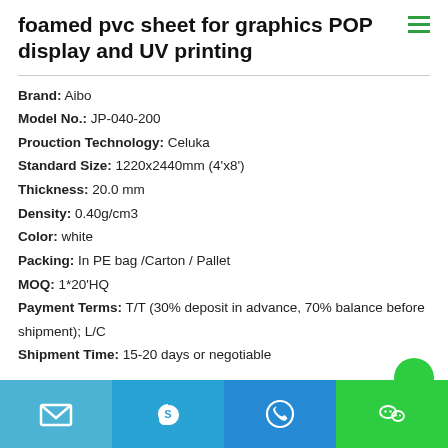foamed pvc sheet for graphics POP display and UV printing
Brand: Aibo
Model No.: JP-040-200
Prouction Technology: Celuka
Standard Size: 1220x2440mm (4'x8')
Thickness: 20.0 mm
Density: 0.40g/cm3
Color: white
Packing: In PE bag /Carton / Pallet
MOQ: 1*20'HQ
Payment Terms: T/T (30% deposit in advance, 70% balance before shipment); L/C
Shipment Time: 15-20 days or negotiable
[Figure (infographic): Bottom navigation bar with four icons: email (teal), Skype (sky blue), phone/WhatsApp (blue), WeChat (green)]